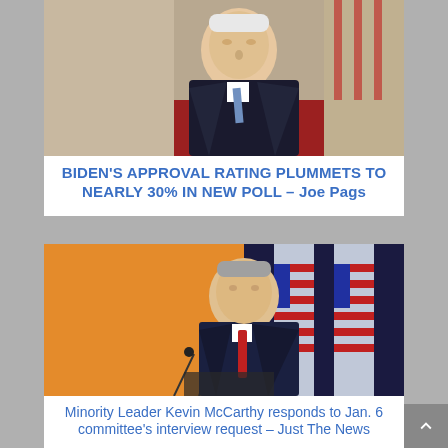[Figure (photo): Photo of President Biden in a dark suit with a blue tie, looking downward, with an American flag and red carpet in the background]
BIDEN'S APPROVAL RATING PLUMMETS TO NEARLY 30% IN NEW POLL – Joe Pags
[Figure (photo): Photo of Minority Leader Kevin McCarthy in a dark suit with a red tie, standing at a podium with American flags behind him]
Minority Leader Kevin McCarthy responds to Jan. 6 committee's interview request – Just The News